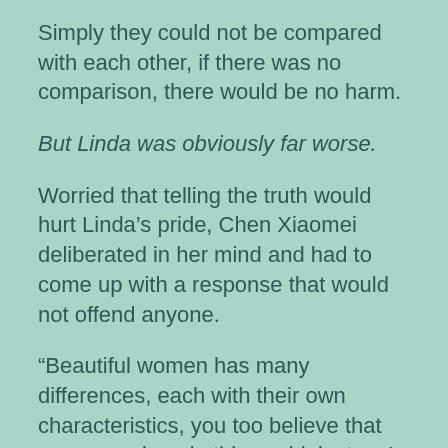Simply they could not be compared with each other, if there was no comparison, there would be no harm.
But Linda was obviously far worse.
Worried that telling the truth would hurt Linda's pride, Chen Xiaomei deliberated in her mind and had to come up with a response that would not offend anyone.
“Beautiful women has many differences, each with their own characteristics, you too believe that you are unique in this world, just as I think that you are beautiful.”